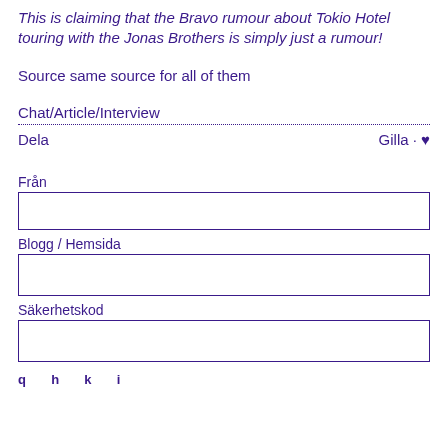This is claiming that the Bravo rumour about Tokio Hotel touring with the Jonas Brothers is simply just a rumour!
Source same source for all of them
Chat/Article/Interview
Dela                                          Gilla · ♥
Från
Blogg / Hemsida
Säkerhetskod
q  h  k  i